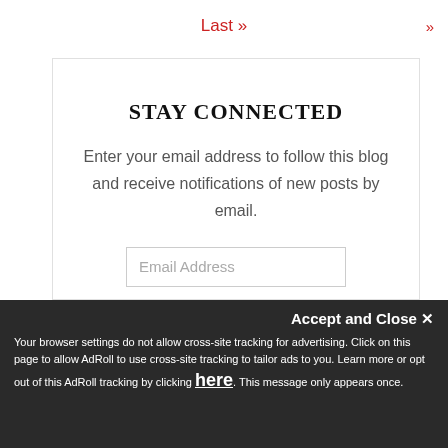Last »
»
STAY CONNECTED
Enter your email address to follow this blog and receive notifications of new posts by email.
Email Address
Subscribe
Accept and Close ✕
Your browser settings do not allow cross-site tracking for advertising. Click on this page to allow AdRoll to use cross-site tracking to tailor ads to you. Learn more or opt out of this AdRoll tracking by clicking here. This message only appears once.